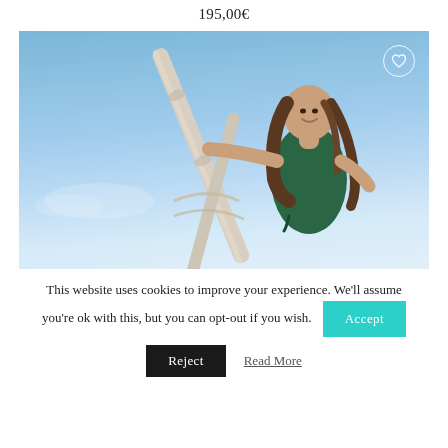195,00€
[Figure (photo): Woman in a green swimsuit smiling and leaning on a white driftwood or wooden structure against a clear blue sky. A heart/wishlist icon is visible in the top-right corner of the image.]
This website uses cookies to improve your experience. We'll assume you're ok with this, but you can opt-out if you wish.
Accept
Reject
Read More